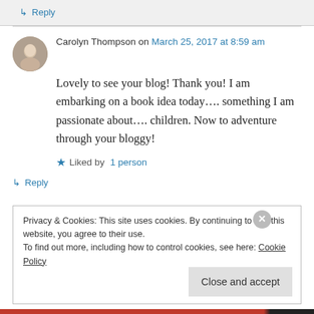↳ Reply
Carolyn Thompson on March 25, 2017 at 8:59 am
Lovely to see your blog! Thank you! I am embarking on a book idea today…. something I am passionate about…. children. Now to adventure through your bloggy!
★ Liked by 1 person
↳ Reply
Privacy & Cookies: This site uses cookies. By continuing to use this website, you agree to their use.
To find out more, including how to control cookies, see here: Cookie Policy
Close and accept